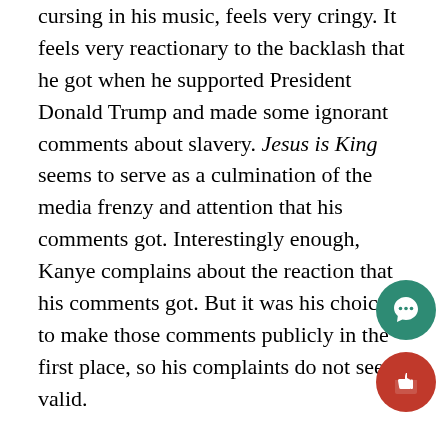cursing in his music, feels very cringy. It feels very reactionary to the backlash that he got when he supported President Donald Trump and made some ignorant comments about slavery. Jesus is King seems to serve as a culmination of the media frenzy and attention that his comments got. Interestingly enough, Kanye complains about the reaction that his comments got. But it was his choice to make those comments publicly in the first place, so his complaints do not seem valid.
Kanye wants to intertwine gospel into his music in a new way. It's not unfamiliar territory to have gospel elements in his music, but in the past they felt natural. On Jesus is King, Kanye is now singing extensively and his voice sounds strained to the max. It's not just the vocals that are lacking, but Kanye's usually clever wordplay and flow has been simpli...